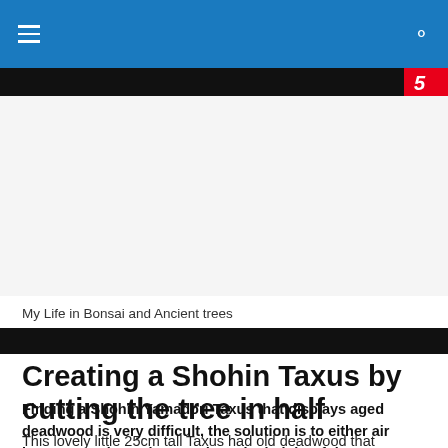≡  🔍
[Figure (other): Black navigation banner with partial red logo/icon on the right]
[Figure (other): Advertisement area (light grey/white block)]
My Life in Bonsai and Ancient trees
[Figure (other): Dark/black textured banner strip]
Creating a Shohin Taxus by cutting the tree in half
Finding a Shohin Yamadori Taxus that displays aged deadwood is very difficult, the solution is to either air layer or as shown here, reduce the height of the tree.
This lovely little 25cm tall Taxus had old deadwood that